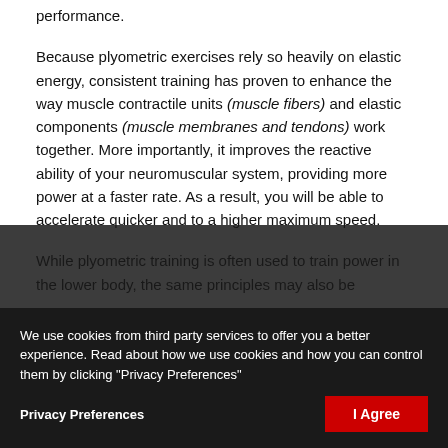performance.
Because plyometric exercises rely so heavily on elastic energy, consistent training has proven to enhance the way muscle contractile units (muscle fibers) and elastic components (muscle membranes and tendons) work together. More importantly, it improves the reactive ability of your neuromuscular system, providing more power at a faster rate. As a result, you will be able to accelerate quicker and to a higher maximum speed.
While plyometric training is often used to train power in the lower body, the same principles may also be applied to the upper body to increase strength and the elastic components of your muscles. For example, swings, medicine ball throws, and clap pushups are
We use cookies from third party services to offer you a better experience. Read about how we use cookies and how you can control them by clicking "Privacy Preferences"
Privacy Preferences
I Agree